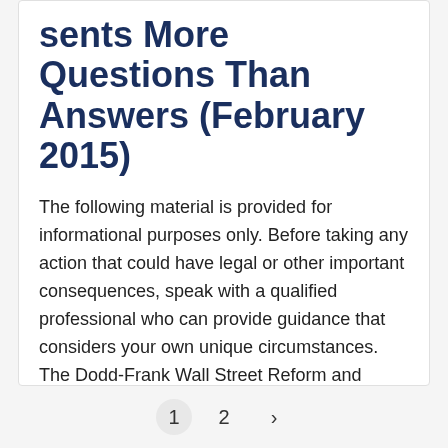sents More Questions Than Answers (February 2015)
The following material is provided for informational purposes only. Before taking any action that could have legal or other important consequences, speak with a qualified professional who can provide guidance that considers your own unique circumstances. The Dodd-Frank Wall Street Reform and Consumer Protection Act was signed into law by President Obama in 2010. The intent of the Act was to…